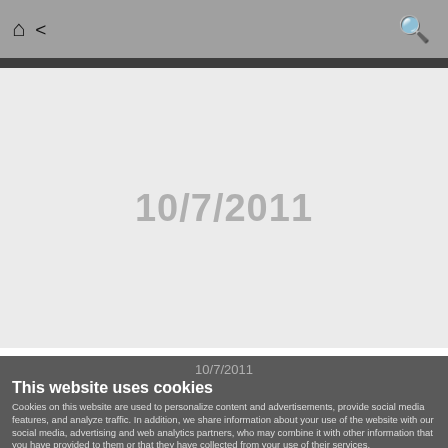🏠 🔗 🔍
[Figure (screenshot): Light grey placeholder area with watermark date text '10/7/2011' centered in large grey font]
10/7/2011
This website uses cookies
Cookies on this website are used to personalize content and advertisements, provide social media features, and analyze traffic. In addition, we share information about your use of the website with our social media, advertising and web analytics partners, who may combine it with other information that you have provided to them or that they have collected from your use of their services.